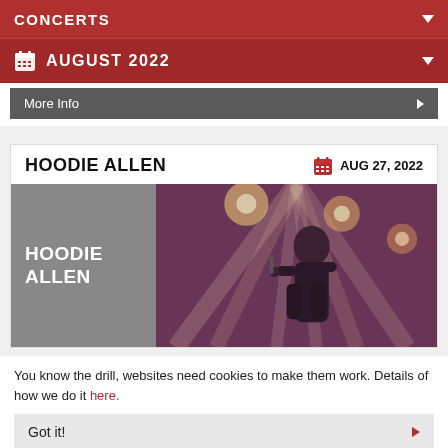CONCERTS
AUGUST 2022
More Info
HOODIE ALLEN
AUG 27, 2022
[Figure (photo): Concert photo of Hoodie Allen performing on stage with stage lighting, overlaid with artist name 'HOODIE ALLEN' on grey panel]
You know the drill, websites need cookies to make them work. Details of how we do it here.
Got it!